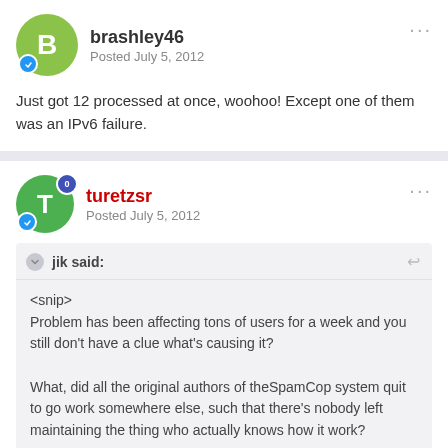brashley46
Posted July 5, 2012
Just got 12 processed at once, woohoo! Except one of them was an IPv6 failure.
turetzsr
Posted July 5, 2012
jik said:
<snip>
Problem has been affecting tons of users for a week and you still don't have a clue what's causing it?

What, did all the original authors of theSpamCop system quit to go work somewhere else, such that there's nobody left maintaining the thing who actually knows how it work?